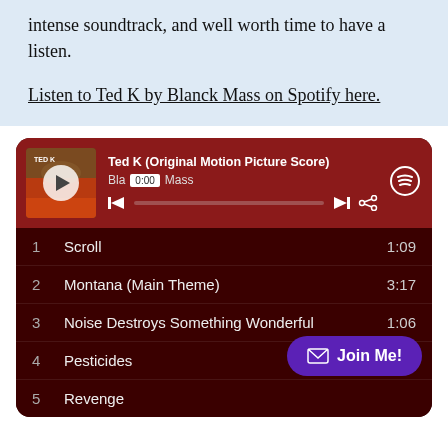intense soundtrack, and well worth time to have a listen.
Listen to Ted K by Blanck Mass on Spotify here.
[Figure (screenshot): Spotify embedded player showing 'Ted K (Original Motion Picture Score)' by Blanck Mass with album art, playback controls showing 0:00 timestamp, and a tracklist including: 1 Scroll 1:09, 2 Montana (Main Theme) 3:17, 3 Noise Destroys Something Wonderful 1:06, 4 Pesticides, 5 Revenge. A purple 'Join Me!' button overlays the bottom right.]